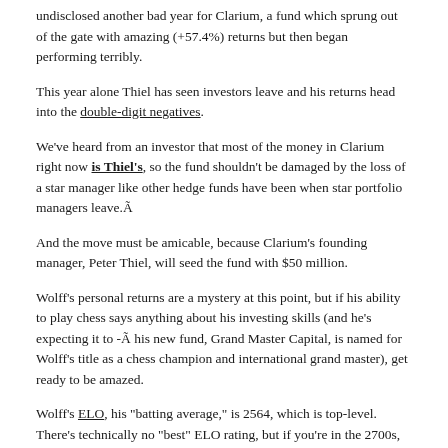undisclosed another bad year for Clarium, a fund which sprung out of the gate with amazing (+57.4%) returns but then began performing terribly.
This year alone Thiel has seen investors leave and his returns head into the double-digit negatives.
We've heard from an investor that most of the money in Clarium right now is Thiel's, so the fund shouldn't be damaged by the loss of a star manager like other hedge funds have been when star portfolio managers leave.Ã
And the move must be amicable, because Clarium's founding manager, Peter Thiel, will seed the fund with $50 million.
Wolff's personal returns are a mystery at this point, but if his ability to play chess says anything about his investing skills (and he's expecting it to -Ã his new fund, Grand Master Capital, is named for Wolff's title as a chess champion and international grand master), get ready to be amazed.
Wolff's ELO, his "batting average," is 2564, which is top-level. There's technically no "best" ELO rating, but if you're in the 2700s, you're among